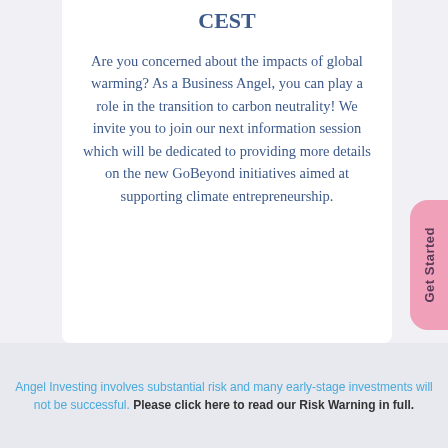CEST
Are you concerned about the impacts of global warming? As a Business Angel, you can play a role in the transition to carbon neutrality! We invite you to join our next information session which will be dedicated to providing more details on the new GoBeyond initiatives aimed at supporting climate entrepreneurship.
Angel Investing involves substantial risk and many early-stage investments will not be successful. Please click here to read our Risk Warning in full.